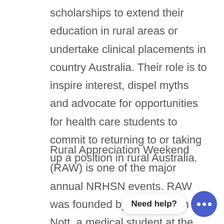scholarships to extend their education in rural areas or undertake clinical placements in country Australia. Their role is to inspire interest, dispel myths and advocate for opportunities for health care students to commit to returning to or taking up a position in rural Australia.
Rural Appreciation Weekend (RAW) is one of the major annual NRHSN events. RAW was founded by Dr Shannon Nott, a medical student at the time who was frustrated with the stigma associated with rural practice. Nott created rural appreciation weekend, where medical, nursing and other allied health students went ‘out bush’ for experienced first-hand the joys and challenges of living and working in rural Australia.